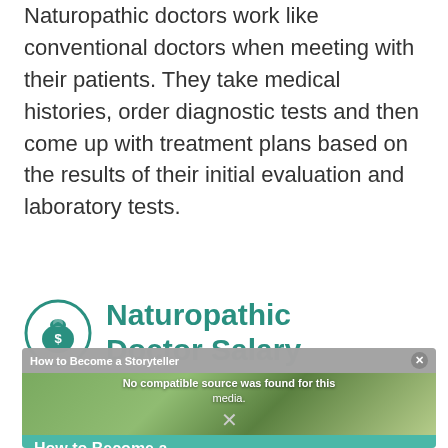Naturopathic doctors work like conventional doctors when meeting with their patients. They take medical histories, order diagnostic tests and then come up with treatment plans based on the results of their initial evaluation and laboratory tests.
Naturopathic Doctor Salary
[Figure (screenshot): Video overlay popup showing 'How to Become a Storyteller' with message 'No compatible source was found for this media.' and a close button, overlaid on a background image of people outdoors. A teal bottom banner reads 'How to Become a']